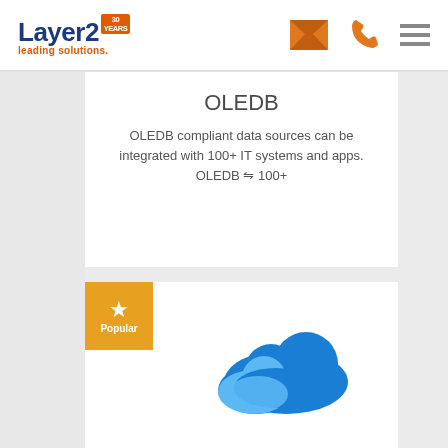[Figure (logo): Layer2 logo with '30 YEARS' badge and 'leading solutions.' tagline in orange]
[Figure (infographic): Orange envelope icon, orange phone icon, and orange hamburger menu icon in header navigation]
OLEDB
OLEDB compliant data sources can be integrated with 100+ IT systems and apps. OLEDB ⇆ 100+
[Figure (logo): OneDrive for Business cloud logo - blue cloud shape with lighter blue segment]
Popular (star badge)
OneDrive for Business
OneDrive for Business